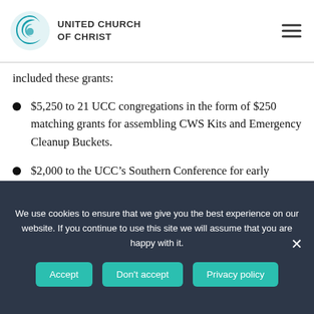UNITED CHURCH OF CHRIST
included these grants:
$5,250 to 21 UCC congregations in the form of $250 matching grants for assembling CWS Kits and Emergency Cleanup Buckets.
$2,000 to the UCC’s Southern Conference for early response to Hurricane Florence and subsequent flooding.
We use cookies to ensure that we give you the best experience on our website. If you continue to use this site we will assume that you are happy with it.